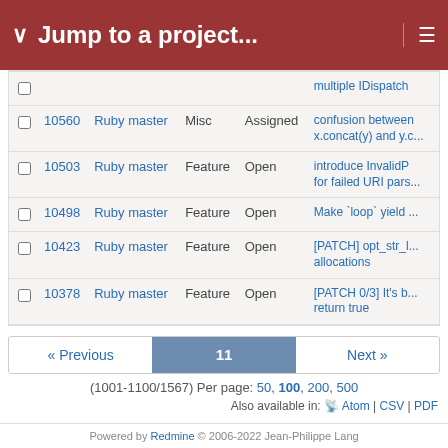Jump to a project...
|  | # | Project | Tracker | Status | Subject |
| --- | --- | --- | --- | --- | --- |
|  |  |  |  |  | multiple IDispatch |
|  | 10560 | Ruby master | Misc | Assigned | confusion between x.concat(y) and y.c... |
|  | 10503 | Ruby master | Feature | Open | introduce InvalidP for failed URI pars... |
|  | 10498 | Ruby master | Feature | Open | Make `loop` yield ... |
|  | 10423 | Ruby master | Feature | Open | [PATCH] opt_str_l... allocations |
|  | 10378 | Ruby master | Feature | Open | [PATCH 0/3] It's b... return true |
« Previous  11  Next »
(1001-1100/1567) Per page: 50, 100, 200, 500
Also available in: Atom | CSV | PDF
Powered by Redmine © 2006-2022 Jean-Philippe Lang